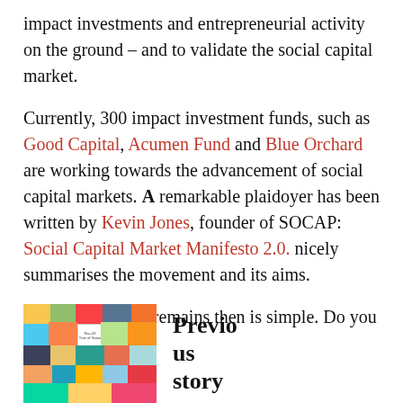impact investments and entrepreneurial activity on the ground – and to validate the social capital market.
Currently, 300 impact investment funds, such as Good Capital, Acumen Fund and Blue Orchard are working towards the advancement of social capital markets. A remarkable plaidoyer has been written by Kevin Jones, founder of SOCAP: Social Capital Market Manifesto 2.0. nicely summarises the movement and its aims.
The question that remains then is simple. Do you trust it?
[Figure (photo): Colorful sticky notes collage with text 'Rio+20 Tree of Vision' visible]
Previous story